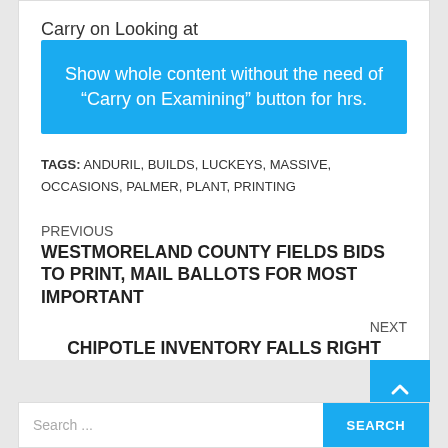Carry on Looking at
Show whole content without the need of “Carry on Examining” button for hrs.
TAGS: ANDURIL, BUILDS, LUCKEYS, MASSIVE, OCCASIONS, PALMER, PLANT, PRINTING
PREVIOUS
WESTMORELAND COUNTY FIELDS BIDS TO PRINT, MAIL BALLOTS FOR MOST IMPORTANT
NEXT
CHIPOTLE INVENTORY FALLS RIGHT AFTER Q4 PRINT: NEED TO TRADERS ACQUIRE THE DIP?
Search ...
SEARCH